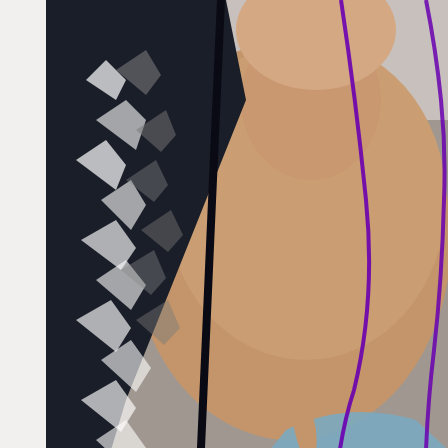[Figure (photo): Close-up photograph of a person's neck and chest area. The person is wearing a light blue crochet/lace top with an open knit pattern showing the skin beneath, and a dark navy/black and white patterned knit cardigan or jacket over it. A purple cord or lanyard is visible around the neck. The bottom portion of the image shows pink and white flowers (possibly orchids) against a blurred outdoor background.]